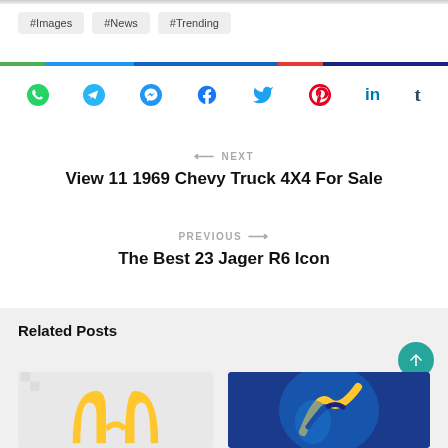#Images
#News
#Trending
[Figure (infographic): Social share icons row: WhatsApp, Telegram, Messenger, Facebook, Twitter, Pinterest, LinkedIn, Tumblr]
NEXT — View 11 1969 Chevy Truck 4X4 For Sale
PREVIOUS — The Best 23 Jager R6 Icon
Related Posts
[Figure (photo): McDonald's golden arches logo on light background]
[Figure (photo): Blue background with stylized yellow/gold graphic]